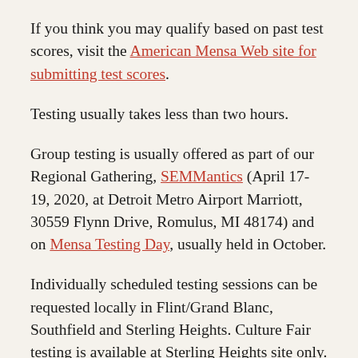If you think you may qualify based on past test scores, visit the American Mensa Web site for submitting test scores.
Testing usually takes less than two hours.
Group testing is usually offered as part of our Regional Gathering, SEMMantics (April 17-19, 2020, at Detroit Metro Airport Marriott, 30559 Flynn Drive, Romulus, MI 48174) and on Mensa Testing Day, usually held in October.
Individually scheduled testing sessions can be requested locally in Flint/Grand Blanc, Southfield and Sterling Heights. Culture Fair testing is available at Sterling Heights site only.